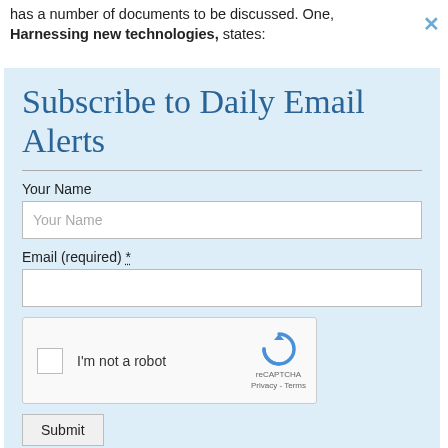has a number of documents to be discussed. One, Harnessing new technologies, states:
Subscribe to Daily Email Alerts
Your Name
Email (required) *
[Figure (other): reCAPTCHA widget with checkbox labeled I'm not a robot, and reCAPTCHA logo with Privacy - Terms links]
Submit
By submitting this form, you are consenting to receive marketing emails from: News With Views, P.O. Box 990, Spring Branch, TX, 78070-9998,